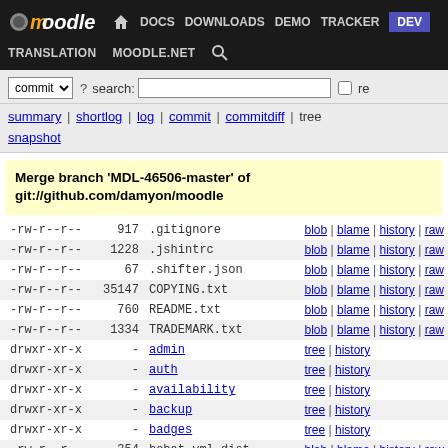Moodle - DOCS DOWNLOADS DEMO TRACKER DEV - TRANSLATION MOODLE.NET search
commit ? search: [input] re
summary | shortlog | log | commit | commitdiff | tree
snapshot
Merge branch 'MDL-46506-master' of git://github.com/damyon/moodle
| permissions | size | name | links |
| --- | --- | --- | --- |
| -rw-r--r-- | 917 | .gitignore | blob | blame | history | raw |
| -rw-r--r-- | 1228 | .jshintrc | blob | blame | history | raw |
| -rw-r--r-- | 67 | .shifter.json | blob | blame | history | raw |
| -rw-r--r-- | 35147 | COPYING.txt | blob | blame | history | raw |
| -rw-r--r-- | 760 | README.txt | blob | blame | history | raw |
| -rw-r--r-- | 1334 | TRADEMARK.txt | blob | blame | history | raw |
| drwxr-xr-x | - | admin | tree | history |
| drwxr-xr-x | - | auth | tree | history |
| drwxr-xr-x | - | availability | tree | history |
| drwxr-xr-x | - | backup | tree | history |
| drwxr-xr-x | - | badges | tree | history |
| -rw-r--r-- | 354 | behat.yml.dist | blob | blame | history | raw |
| drwxr-xr-x | - | blocks | tree | history |
| drwxr-xr-x | - | blog | tree | history |